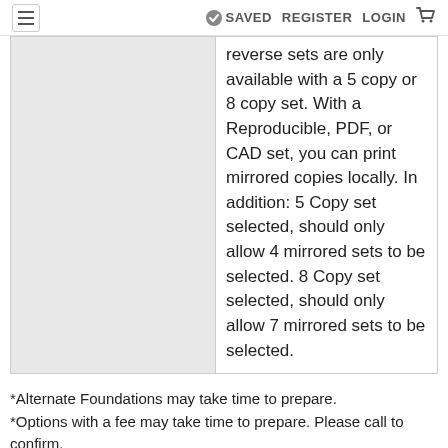≡  ✔ SAVED  REGISTER  LOGIN  🛒
|  |  |
| --- | --- |
|  | reverse sets are only available with a 5 copy or 8 copy set. With a Reproducible, PDF, or CAD set, you can print mirrored copies locally. In addition: 5 Copy set selected, should only allow 4 mirrored sets to be selected. 8 Copy set selected, should only allow 7 mirrored sets to be selected. |
*Alternate Foundations may take time to prepare.
*Options with a fee may take time to prepare. Please call to confirm.